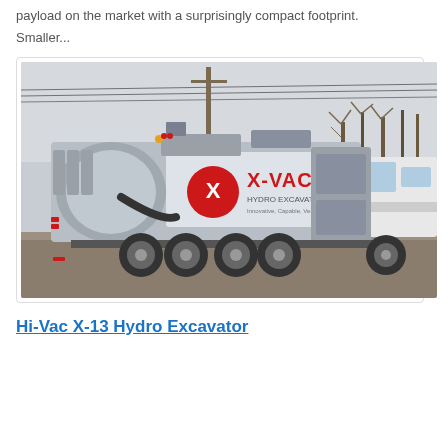payload on the market with a surprisingly compact footprint.
Smaller...
[Figure (photo): A large hydro excavator truck with 'X-VAC Hydro Excavator' branding in red and white on the tank. The vehicle is silver/grey, parked in a lot with overhead power lines and bare trees in the background. It is a semi-truck pulling a large vacuum/excavation unit on tandem axles.]
Hi-Vac X-13 Hydro Excavator